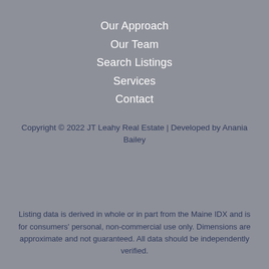Our Approach
Our Team
Search Listings
Services
Contact
Copyright © 2022 JT Leahy Real Estate | Developed by Anania Bailey
Listing data is derived in whole or in part from the Maine IDX and is for consumers' personal, non-commercial use only. Dimensions are approximate and not guaranteed. All data should be independently verified.